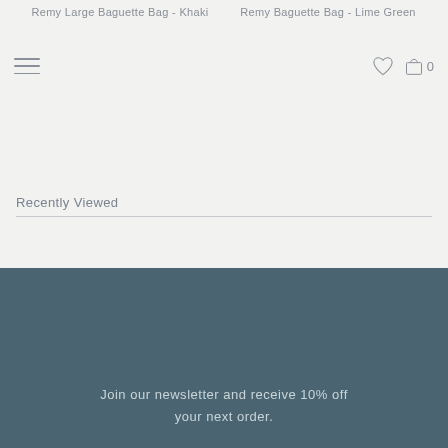Remy Large Baguette Bag - Khaki
Remy Baguette Bag - Lime Green
Recently Viewed
Join our newsletter and receive 10% off your next order.